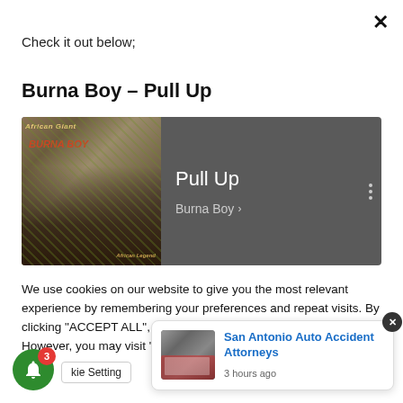×
Check it out below;
Burna Boy – Pull Up
[Figure (screenshot): Music player card with dark gray background showing album art of Burna Boy on the left, and text 'Pull Up' with 'Burna Boy >' on the right.]
We use cookies on our website to give you the most relevant experience by remembering your preferences and repeat visits. By clicking "ACCEPT ALL", you consent to the use of ALL the cookies. However, you may visit "Cookie Settings" to pro
[Figure (screenshot): Push notification popup with accident scene image on left, 'San Antonio Auto Accident Attorneys' link in blue, '3 hours ago' text, and X close button.]
[Figure (other): Green notification bell icon with red badge showing number 3, and partial 'kie Settings' button text.]